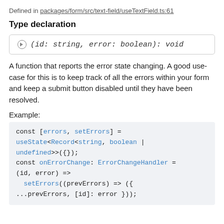Defined in packages/form/src/text-field/useTextField.ts:61
Type declaration
(id: string, error: boolean): void
A function that reports the error state changing. A good use-case for this is to keep track of all the errors within your form and keep a submit button disabled until they have been resolved.
Example:
const [errors, setErrors] = useState<Record<string, boolean | undefined>>({}); const onErrorChange: ErrorChangeHandler = (id, error) => setErrors((prevErrors) => ({ ...prevErrors, [id]: error }));